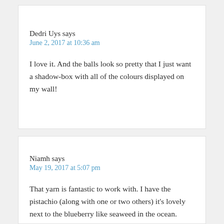Dedri Uys says
June 2, 2017 at 10:36 am
I love it. And the balls look so pretty that I just want a shadow-box with all of the colours displayed on my wall!
Niamh says
May 19, 2017 at 5:07 pm
That yarn is fantastic to work with. I have the pistachio (along with one or two others) it's lovely next to the blueberry like seaweed in the ocean.